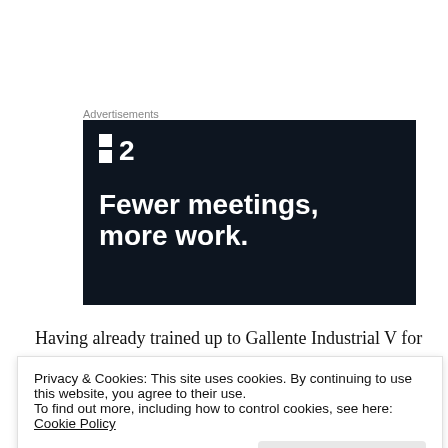Advertisements
[Figure (other): Dark navy advertisement banner for a project management tool. Shows a logo with two squares and '2', then the tagline 'Fewer meetings, more work.' in large bold white text on a dark background.]
Having already trained up to Gallente Industrial V for my Iteron Mark V, I admit it was an obvious choice for fitting…
Privacy & Cookies: This site uses cookies. By continuing to use this website, you agree to their use.
To find out more, including how to control cookies, see here: Cookie Policy
Close and accept
I haven't decided how to fit it out yet.  The Viator has 1 high,